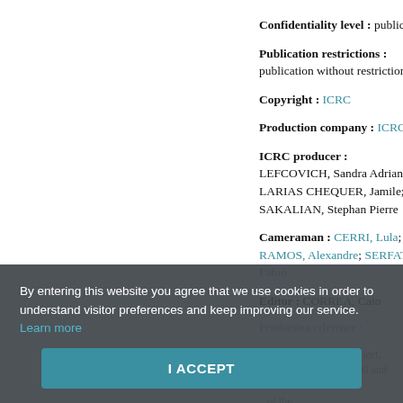Confidentiality level : public
Publication restrictions : publication without restrictions
Copyright : ICRC
Production company : ICRC
ICRC producer : LEFCOVICH, Sandra Adriana; LARIAS CHEQUER, Jamile; SAKALIAN, Stephan Pierre
Cameraman : CERRI, Lula; RAMOS, Alexandre; SERFATY, Fabio
Editor : CORREA, Caio
Production reference :
Description: Meado Project, carried out between 2000 and ... of the Red Cross/ICRC Committee ...
By entering this website you agree that we use cookies in order to understand visitor preferences and keep improving our service. Learn more
I ACCEPT